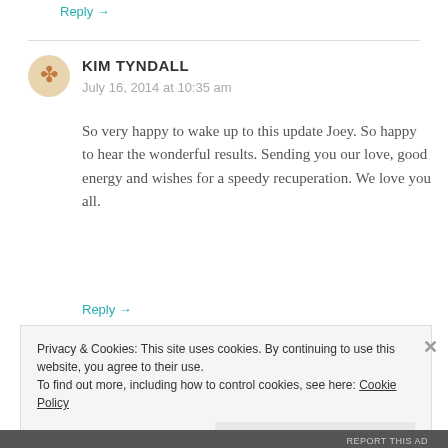Reply →
KIM TYNDALL
July 16, 2014 at 10:35 am
So very happy to wake up to this update Joey. So happy to hear the wonderful results. Sending you our love, good energy and wishes for a speedy recuperation. We love you all.
Reply →
Privacy & Cookies: This site uses cookies. By continuing to use this website, you agree to their use. To find out more, including how to control cookies, see here: Cookie Policy
Close and accept
REPORT THIS AD